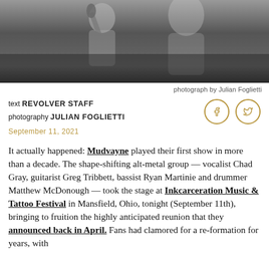[Figure (photo): Black and white concert photo of musicians on stage, one holding a microphone]
photograph by Julian Foglietti
text REVOLVER STAFF
photography JULIAN FOGLIETTI
September 11, 2021
It actually happened: Mudvayne played their first show in more than a decade. The shape-shifting alt-metal group — vocalist Chad Gray, guitarist Greg Tribbett, bassist Ryan Martinie and drummer Matthew McDonough — took the stage at Inkcarceration Music & Tattoo Festival in Mansfield, Ohio, tonight (September 11th), bringing to fruition the highly anticipated reunion that they announced back in April. Fans had clamored for a re-formation for years, with